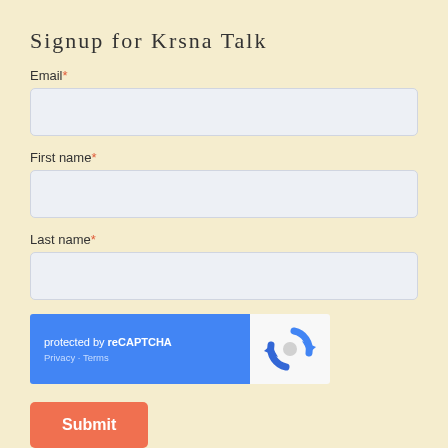Signup for Krsna Talk
Email*
[Figure (other): Email text input field]
First name*
[Figure (other): First name text input field]
Last name*
[Figure (other): Last name text input field]
[Figure (other): reCAPTCHA widget with blue left panel showing 'protected by reCAPTCHA' and Privacy/Terms links, and white right panel with reCAPTCHA logo]
[Figure (other): Submit button in salmon/coral color]